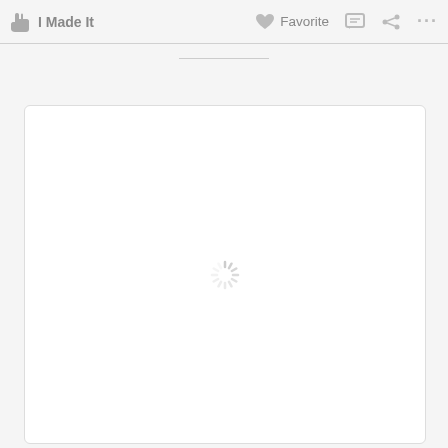I Made It   Favorite   ... ...
[Figure (screenshot): A loading spinner (activity indicator) centered inside a white rounded-corner content box. The spinner consists of short radial lines arranged in a circle, rendered in light gray.]